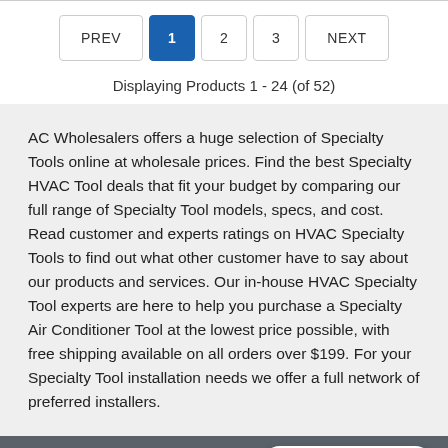PREV  1  2  3  NEXT (pagination)
Displaying Products 1 - 24 (of 52)
AC Wholesalers offers a huge selection of Specialty Tools online at wholesale prices. Find the best Specialty HVAC Tool deals that fit your budget by comparing our full range of Specialty Tool models, specs, and cost. Read customer and experts ratings on HVAC Specialty Tools to find out what other customer have to say about our products and services. Our in-house HVAC Specialty Tool experts are here to help you purchase a Specialty Air Conditioner Tool at the lowest price possible, with free shipping available on all orders over $199. For your Specialty Tool installation needs we offer a full network of preferred installers.
Email Sign Up
Live Chat Offline